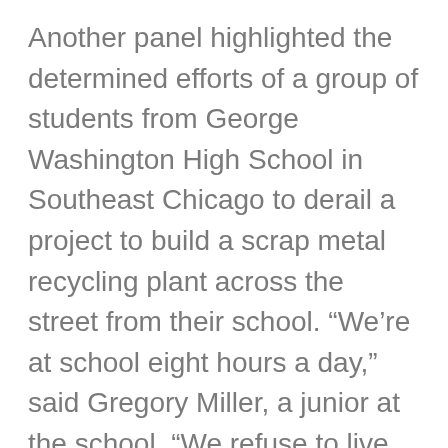Another panel highlighted the determined efforts of a group of students from George Washington High School in Southeast Chicago to derail a project to build a scrap metal recycling plant across the street from their school. “We’re at school eight hours a day,” said Gregory Miller, a junior at the school. “We refuse to live next door to a metals scrapyard.”
The proposed plant was intended to replace something similar that had been shut down in a predominantly white neighborhood due to its many environmental violations. Southeast Chicago is more culturally diverse and has long suffered from industrial pollution and economic hardship, but the students fought